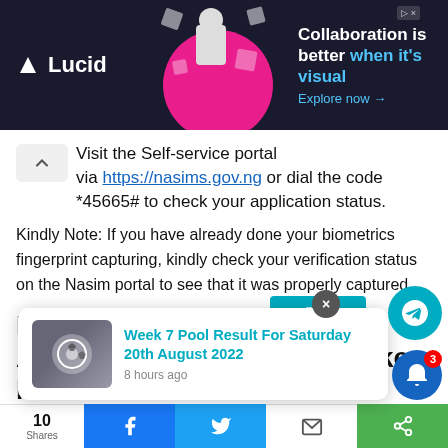[Figure (screenshot): Lucid advertisement banner: dark background with Lucid logo, woman with floating shapes illustration, text 'Collaboration is better when it's visual. Explore now →']
Visit the Self-service portal via https://nasims.gov.ng or dial the code *45665# to check your application status.
Kindly Note: If you have already done your biometrics fingerprint capturing, kindly check your verification status on the Nasim portal to see that it was properly captured.
Npower Warns Prospective Applicants To Disregard Fake News
[Figure (screenshot): Popup notification card: thumbnail image with soccer ball, text 'Week 7 Pool Result For Saturday 20th August 2022', '8 hours ago'. Overlapping UI elements: teal channel bar, X close button, Telegram button, bell notification button with badge 3, bottom social share bar with 10 Shares, Facebook, Twitter, email, share icons.]